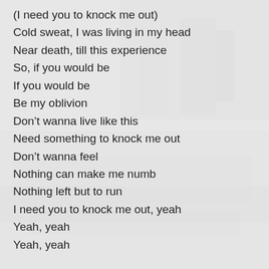(I need you to knock me out)
Cold sweat, I was living in my head
Near death, till this experience
So, if you would be
If you would be
Be my oblivion
Don’t wanna live like this
Need something to knock me out
Don’t wanna feel
Nothing can make me numb
Nothing left but to run
I need you to knock me out, yeah
Yeah, yeah
Yeah, yeah